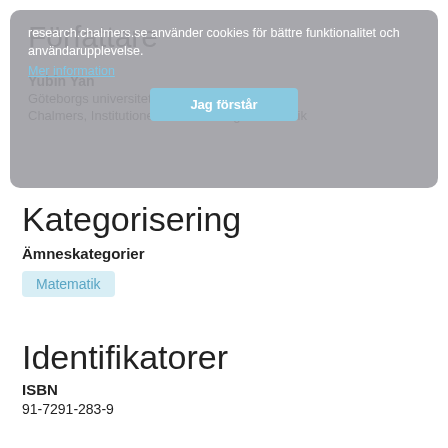[Figure (screenshot): Cookie consent overlay banner with text 'research.chalmers.se använder cookies för bättre funktionalitet och användarupplevelse.' and a 'Mer information' link and 'Jag förstår' button, overlapping a 'Författare' section heading with author name Yubin Yan and affiliations Göteborgs universitet and Chalmers, Institutionen för beräkningsmatematik]
Kategorisering
Ämneskategorier
Matematik
Identifikatorer
ISBN
91-7291-283-9